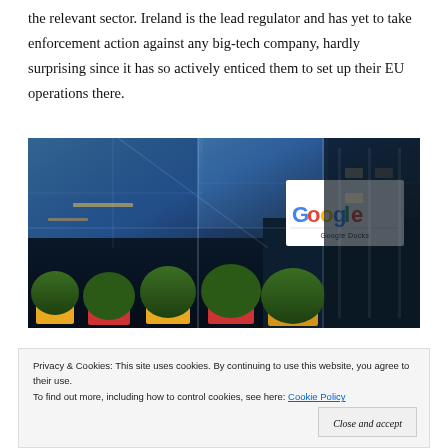the relevant sector. Ireland is the lead regulator and has yet to take enforcement action against any big-tech company, hardly surprising since it has so actively enticed them to set up their EU operations there.
[Figure (photo): Exterior of Google Docks building in Dublin, Ireland. A modern glass-facade office building with a prominent white Google sign showing the Google logo and 'Google Docks' label. Decorative topiary bushes and colorful planters at the entrance.]
Privacy & Cookies: This site uses cookies. By continuing to use this website, you agree to their use.
To find out more, including how to control cookies, see here: Cookie Policy
Close and accept